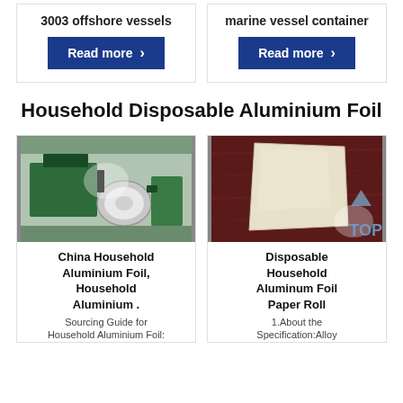3003 offshore vessels
[Figure (other): Blue Read more button with arrow]
marine vessel container
[Figure (other): Blue Read more button with arrow]
Household Disposable Aluminium Foil
[Figure (photo): Industrial aluminium foil rolling machine in factory]
China Household Aluminium Foil, Household Aluminium .
Sourcing Guide for Household Aluminium Foil:
[Figure (photo): Disposable aluminium foil sheet on dark wood surface with TOP watermark]
Disposable Household Aluminum Foil Paper Roll
1.About the Specification:Alloy